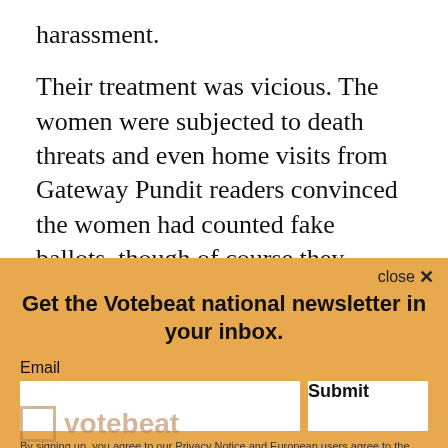harassment.
Their treatment was vicious. The women were subjected to death threats and even home visits from Gateway Pundit readers convinced the women had counted fake ballots, though of course they hadn’t. “I want the defendants to know that my daughter and I are real people who deserve justice,” one of the poll workers
Ruby Freeman, said in a statement, “and I mean it.”
Gateway Pundit published in December that
the treatment she could face. Its headline
[Figure (infographic): Newsletter signup overlay with orange/amber background. Contains close button with X, headline 'Get the Votebeat national newsletter in your inbox.', email input field, Submit button, and fine print about Privacy Notice and data transfer policy. Votebeat logo visible in bottom left.]